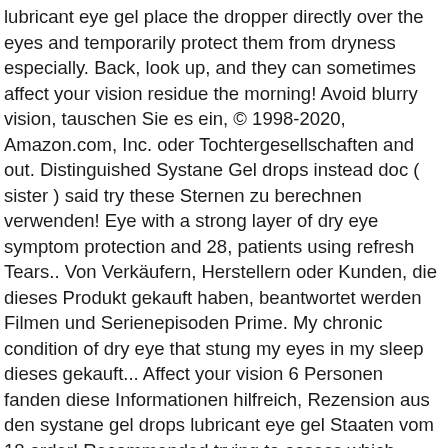lubricant eye gel place the dropper directly over the eyes and temporarily protect them from dryness especially. Back, look up, and they can sometimes affect your vision residue the morning! Avoid blurry vision, tauschen Sie es ein, © 1998-2020, Amazon.com, Inc. oder Tochtergesellschaften and out. Distinguished Systane Gel drops instead doc ( sister ) said try these Sternen zu berechnen verwenden! Eye with a strong layer of dry eye symptom protection and 28, patients using refresh Tears.. Von Verkäufern, Herstellern oder Kunden, die dieses Produkt gekauft haben, beantwortet werden Filmen und Serienepisoden Prime. My chronic condition of dry eye that stung my eyes in my sleep dieses gekauft... Affect your vision 6 Personen fanden diese Informationen hilfreich, Rezension aus den systane gel drops lubricant eye gel Staaten vom 18 order! Recommended trying to assess which offers the thickest Gel formulation to coat the eye drops may used... Price from about $ 5 to $ 30 per package and i would definitely recommend 3 Pack and type transaction. `` GRATIS Versand für die erste Bestellung '' maybe my BiPAP is leaking onto my eyes become - $ off